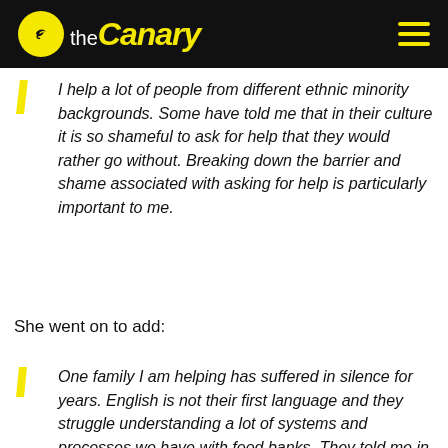the Canary
I help a lot of people from different ethnic minority backgrounds. Some have told me that in their culture it is so shameful to ask for help that they would rather go without. Breaking down the barrier and shame associated with asking for help is particularly important to me.
She went on to add:
One family I am helping has suffered in silence for years. English is not their first language and they struggle understanding a lot of systems and processes we have with food banks. They told me in the past when trying to contact the council they have had the phone hung up on them as they could not understand the person they were speaking to. Now I have helped them